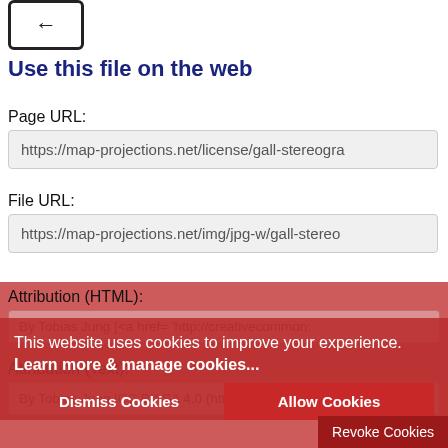[Figure (illustration): Icon showing a rounded rectangle with an arrow or symbol inside, partially visible at the top left corner]
Use this file on the web
Page URL:
https://map-projections.net/license/gall-stereogra
File URL:
https://map-projections.net/img/jpg-w/gall-stereo
Attribution (HTML):
By Tobias Jung [<a href= 'http://creativecommon:
Attribution (Text):
By Tobias Jung [CC BY-SA 4.0 (http://creativrecom:
This website uses cookies to improve your experience.  Learn more & manage cookies...
Dismiss Cookies
Allow Cookies
Revoke Cookies